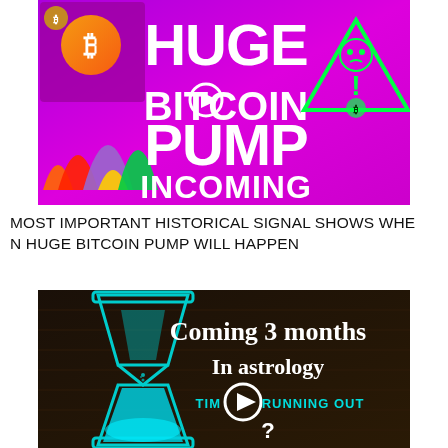[Figure (infographic): Promotional thumbnail image with magenta/purple background showing text 'HUGE BITCOIN PUMP INCOMING' in large bold white letters, with a Bitcoin coin graphic on the left, colored bell curve charts at the bottom left, and a neon green warning triangle on the right.]
MOST IMPORTANT HISTORICAL SIGNAL SHOWS WHEN HUGE BITCOIN PUMP WILL HAPPEN
[Figure (infographic): Promotional thumbnail with dark/black background showing an hourglass illustration in teal/cyan with text 'Coming 3 months In astrology TIME RUNNING OUT ?' in white and teal fonts, with a play button circle overlay.]